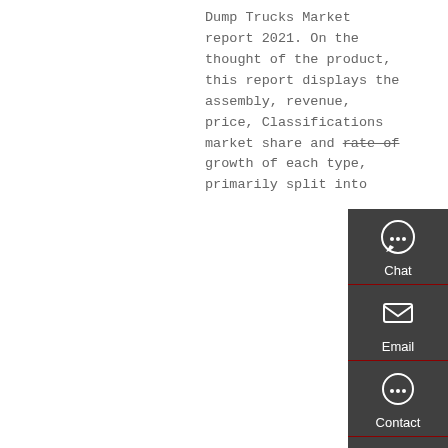Dump Trucks Market report 2021. On the thought of the product, this report displays the assembly, revenue, price, Classifications market share and rate of growth of each type, primarily split into
[Figure (other): Orange 'Get a Quote' button]
[Figure (other): Dark sidebar with Chat, Email, Contact, and Top navigation icons]
[Figure (photo): Red dump truck parked in front of buildings]
Articulated Dump Trucks Market Size And Growth